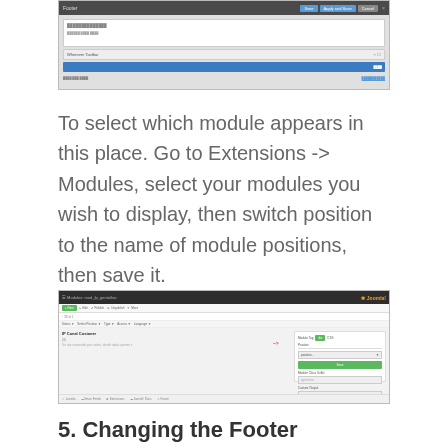[Figure (screenshot): A Joomla admin screenshot showing a module or template settings dialog with a dark top navigation bar and blue button rows]
To select which module appears in this place. Go to Extensions -> Modules, select your modules you wish to display, then switch position to the name of module positions, then save it.
[Figure (screenshot): A Joomla admin panel screenshot showing Modules management page with a green New button in toolbar, module list on left, and a right panel showing Module Position settings with a red arrow pointing to a green position selector button]
5. Changing the Footer